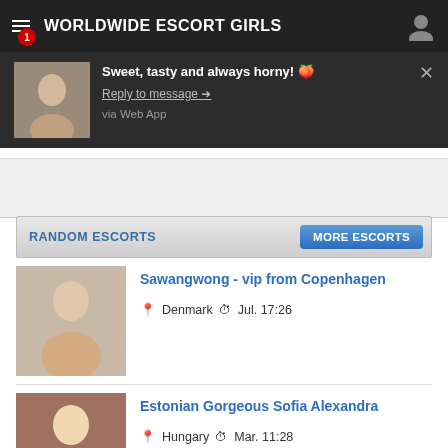WORLDWIDE ESCORT GIRLS
[Figure (screenshot): Push notification popup showing a woman's photo and message 'Sweet, tasty and always horny!' with 'Reply to message' link and 'via Web App' text]
RANDOM ESCORTS
MORE ESCORTS
Sawangwong - vip from Copenhagen
Denmark  Jul. 17:26
Estonian Gorgeous Sofia Alexandra
Hungary  Mar. 11:28
Britt Viol - nice from Durban
South Africa  Feb. 15:22